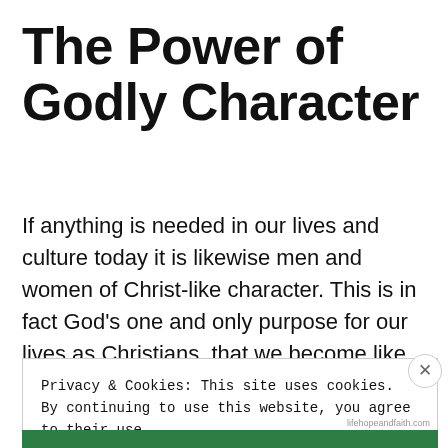The Power of Godly Character
If anything is needed in our lives and culture today it is likewise men and women of Christ-like character. This is in fact God's one and only purpose for our lives as Christians, that we become like
Privacy & Cookies: This site uses cookies. By continuing to use this website, you agree to their use.
To find out more, including how to control cookies, see here: Cookie Policy
Close and accept